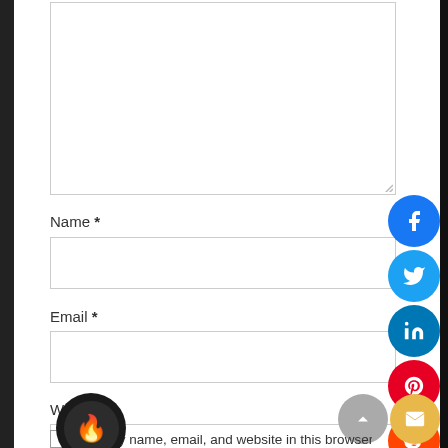[Figure (screenshot): Textarea input box at top of comment form]
Name *
[Figure (screenshot): Name text input field]
Email *
[Figure (screenshot): Email text input field]
Website
[Figure (screenshot): Website text input field with fire icon button overlay]
[Figure (screenshot): Social media share buttons on right side: Facebook, Twitter, LinkedIn, Pinterest, Reddit, WhatsApp]
[Figure (screenshot): Scroll to top button and email/notification button at bottom right]
Save my name, email, and website in this browser for it